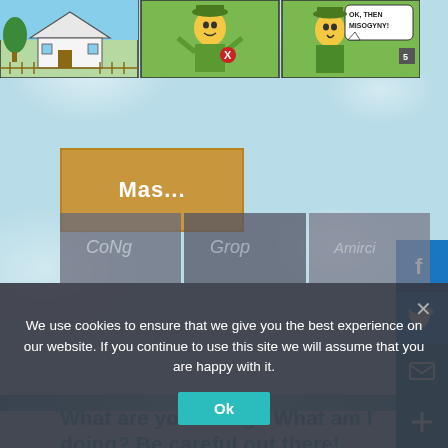[Figure (illustration): Comic strip panels showing cartoon characters including a house scene, a character with a red X, and a character saying 'OK, THEN MISOGYNY!']
[Figure (illustration): Golden/tan colored button with text 'Mas...']
[Figure (illustration): Social media sidebar buttons: Facebook (blue F), Twitter (bird), Email (envelope), Plus button]
What are you doing? What am I doing? Be careful out there!
January 23, 2015 by Latino LA
[Figure (photo): Three dark photo thumbnails at bottom of page partially visible]
We use cookies to ensure that we give you the best experience on our website. If you continue to use this site we will assume that you are happy with it.
Ok